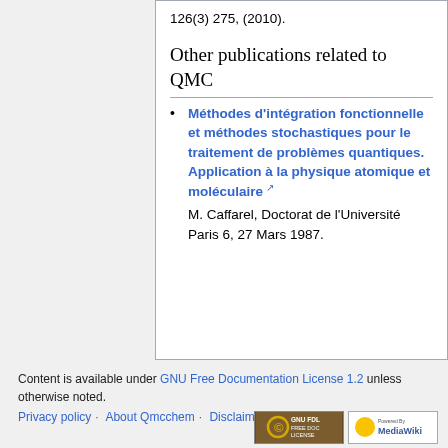126(3) 275, (2010).
Other publications related to QMC
Méthodes d'intégration fonctionnelle et méthodes stochastiques pour le traitement de problèmes quantiques. Application à la physique atomique et moléculaire [ext link]
M. Caffarel, Doctorat de l'Université Paris 6, 27 Mars 1987.
Content is available under GNU Free Documentation License 1.2 unless otherwise noted.
Privacy policy · About Qmcchem · Disclaimers